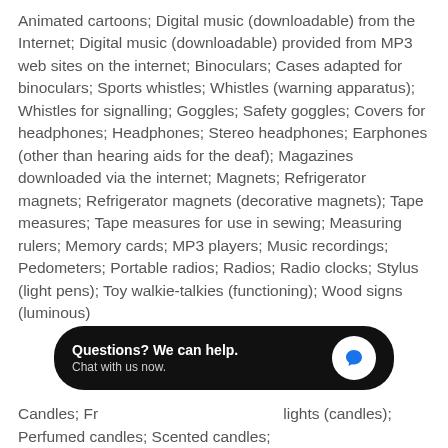Animated cartoons; Digital music (downloadable) from the Internet; Digital music (downloadable) provided from MP3 web sites on the internet; Binoculars; Cases adapted for binoculars; Sports whistles; Whistles (warning apparatus); Whistles for signalling; Goggles; Safety goggles; Covers for headphones; Headphones; Stereo headphones; Earphones (other than hearing aids for the deaf); Magazines downloaded via the internet; Magnets; Refrigerator magnets; Refrigerator magnets (decorative magnets); Tape measures; Tape measures for use in sewing; Measuring rulers; Memory cards; MP3 players; Music recordings; Pedometers; Portable radios; Radios; Radio clocks; Stylus (light pens); Toy walkie-talkies (functioning); Wood signs (luminous)
Candles; Fr... lights (candles); Perfumed candles; Scented candles;